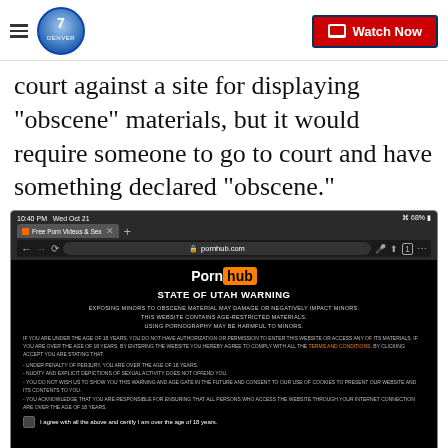Denver7 - Watch Now
court against a site for displaying "obscene" materials, but it would require someone to go to court and have something declared "obscene."
[Figure (screenshot): Screenshot of a mobile browser showing the Pornhub website with a State of Utah Warning page, displayed on an iPhone at 10:40 PM Wed Oct 21 with 68% battery. The warning states: EXPOSING MINORS TO OBSCENE MATERIAL MAY DAMAGE OR NEGATIVELY IMPACT MINORS. THIS WEBSITE CONTAINS AGE-RESTRICTED MATERIALS. USING PORNOGRAPHY MAY BE HARMFUL TO MINORS. Followed by terms and conditions text and an age verification checkbox.]